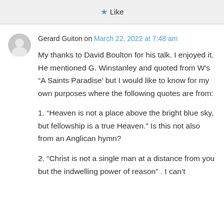[Figure (other): Like button with star icon]
Gerard Guiton on March 22, 2022 at 7:48 am
My thanks to David Boulton for his talk. I enjoyed it. He mentioned G. Winstanley and quoted from W's “A Saints Paradise’ but I would like to know for my own purposes where the following quotes are from:
1. “Heaven is not a place above the bright blue sky, but fellowship is a true Heaven.” Is this not also from an Anglican hymn?
2. “Christ is not a single man at a distance from you but the indwelling power of reason” . I can’t